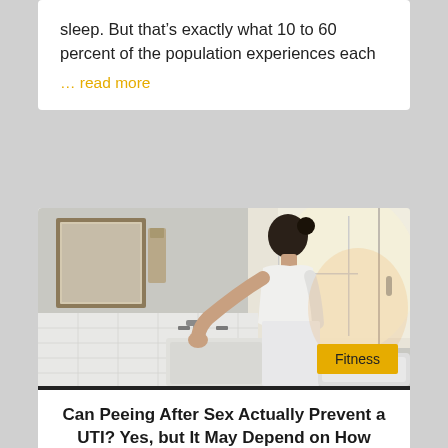sleep. But that’s exactly what 10 to 60 percent of the population experiences each
… read more
[Figure (photo): Woman in white t-shirt leaning over a bathroom sink, viewed from the side, with a window in the background letting in bright light. A mirror and bathroom fixtures are visible.]
Fitness
Can Peeing After Sex Actually Prevent a UTI? Yes, but It May Depend on How Soon You Do It